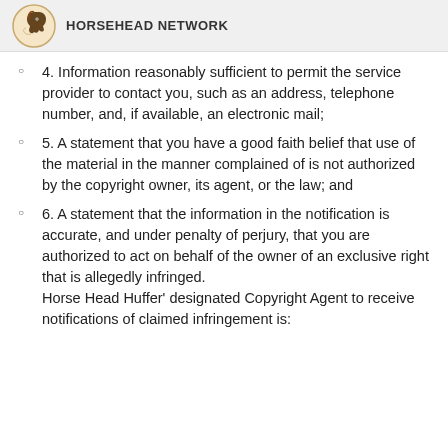HORSEHEAD NETWORK
4. Information reasonably sufficient to permit the service provider to contact you, such as an address, telephone number, and, if available, an electronic mail;
5. A statement that you have a good faith belief that use of the material in the manner complained of is not authorized by the copyright owner, its agent, or the law; and
6. A statement that the information in the notification is accurate, and under penalty of perjury, that you are authorized to act on behalf of the owner of an exclusive right that is allegedly infringed. Horse Head Huffer' designated Copyright Agent to receive notifications of claimed infringement is: